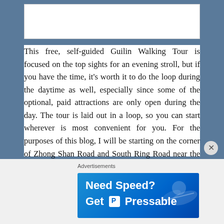[Figure (other): Top image area placeholder (white rectangle with border)]
This free, self-guided Guilin Walking Tour is focused on the top sights for an evening stroll, but if you have the time, it's worth it to do the loop during the daytime as well, especially since some of the optional, paid attractions are only open during the day. The tour is laid out in a loop, so you can start wherever is most convenient for you. For the purposes of this blog, I will be starting on the corner of Zhong Shan Road and South Ring Road near the Bank of China Self Service Center MAP.
Advertisements
[Figure (illustration): Pressable web hosting advertisement banner. Blue background with person flying. Text: 'Need Speed? Get P Pressable']